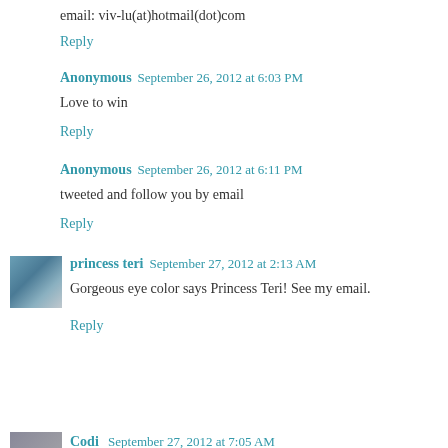email: viv-lu(at)hotmail(dot)com
Reply
Anonymous  September 26, 2012 at 6:03 PM
Love to win
Reply
Anonymous  September 26, 2012 at 6:11 PM
tweeted and follow you by email
Reply
princess teri  September 27, 2012 at 2:13 AM
Gorgeous eye color says Princess Teri! See my email.
Reply
[Figure (photo): Small avatar photo of princess teri, showing a landscape/scenery image]
Codi  September 27, 2012 at 7:05 AM